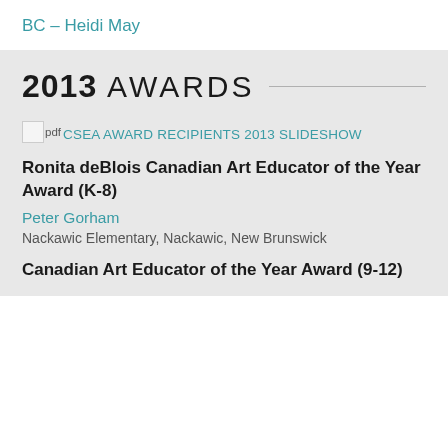BC – Heidi May
2013 AWARDS
pdf CSEA AWARD RECIPIENTS 2013 SLIDESHOW
Ronita deBlois Canadian Art Educator of the Year Award (K-8)
Peter Gorham
Nackawic Elementary, Nackawic, New Brunswick
Canadian Art Educator of the Year Award (9-12)